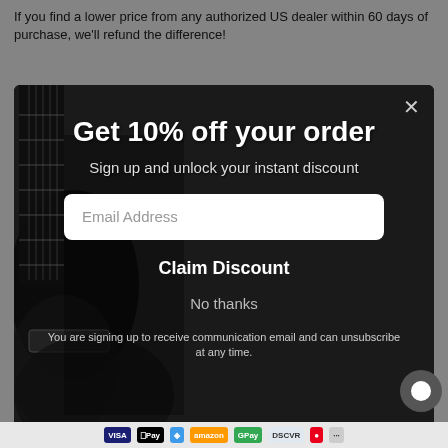If you find a lower price from any authorized US dealer within 60 days of purchase, we'll refund the difference!
[Figure (screenshot): Popup modal overlay with black and white guitar background image. Contains promotional content for 10% discount signup.]
Get 10% off your order
Sign up and unlock your instant discount
Email Address
Claim Discount
No thanks
You are signing up to receive communication email and can unsubscribe at any time.